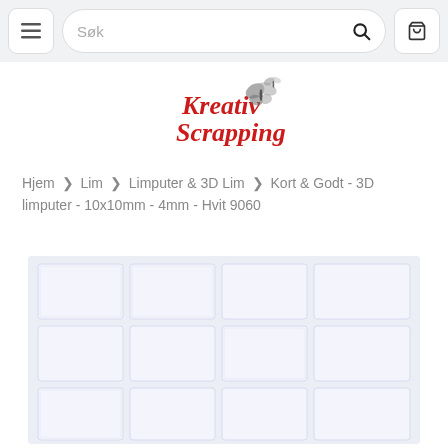[Figure (screenshot): Website navigation bar with hamburger menu button, search field with placeholder text 'Søk' and search icon, and shopping cart button]
[Figure (logo): Kreativ Scrapping logo in red cursive script with a butterfly graphic]
Hjem > Lim > Limputer & 3D Lim > Kort & Godt - 3D limputer - 10x10mm - 4mm - Hvit 9060
[Figure (photo): Product photo showing white 3D foam adhesive pads (limputer) arranged in a grid pattern on a light lavender/blue background]